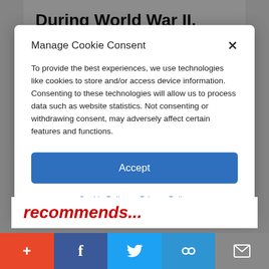During World War II, American soldiers sacrificed their lives to save liberty. Currently, America is on a path toward sacrificing liberty to maybe save lives
Manage Cookie Consent
To provide the best experiences, we use technologies like cookies to store and/or access device information. Consenting to these technologies will allow us to process data such as website statistics. Not consenting or withdrawing consent, may adversely affect certain features and functions.
Accept
Cookie Policy  Privacy Policy
recommends...